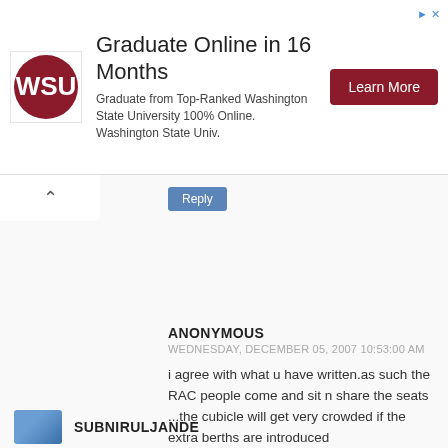[Figure (other): Advertisement banner for Washington State University online program. Shows WSU logo, headline 'Graduate Online in 16 Months', description text, and a red 'Learn More' button.]
Reply
ANONYMOUS
WEDNESDAY, DECEMBER 05, 2007 10:53:00 AM
i agree with what u have written.as such the RAC people come and sit n share the seats ...the cubicle will get very crowded if the extra berths are introduced
Reply
SUBNIRULJANDE